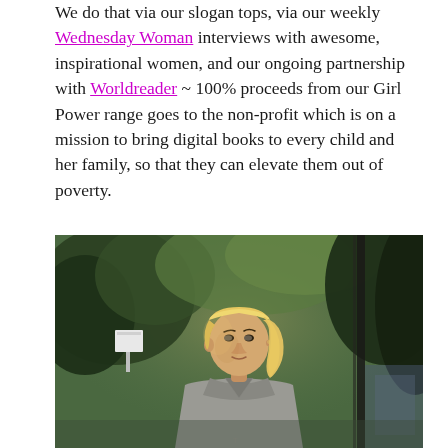We do that via our slogan tops, via our weekly Wednesday Woman interviews with awesome, inspirational women, and our ongoing partnership with Worldreader ~ 100% proceeds from our Girl Power range goes to the non-profit which is on a mission to bring digital books to every child and her family, so that they can elevate them out of poverty.
[Figure (photo): Portrait photograph of a young Asian woman with blonde hair pulled back, wearing a grey v-neck top, standing outdoors with blurred green trees and a white sign in the background. Warm natural lighting.]